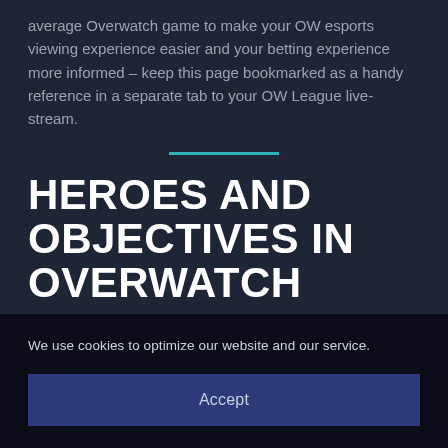average Overwatch game to make your OW esports viewing experience easier and your betting experience more informed – keep this page bookmarked as a handy reference in a separate tab to your OW League live-stream.
HEROES AND OBJECTIVES IN OVERWATCH
We use cookies to optimize our website and our service.
Accept